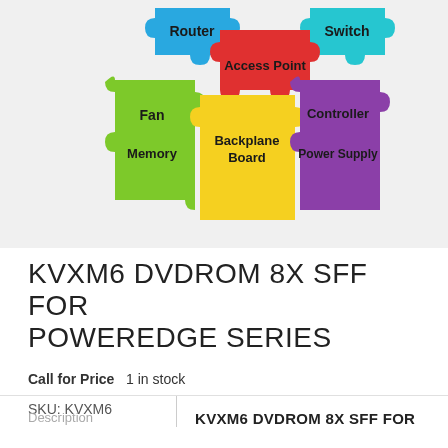[Figure (illustration): Colorful jigsaw puzzle pieces labeled: Router (blue, top), Switch (teal, top right), Access Point (red, center top), Fan (green, left), Controller (purple, right), Backplane Board (yellow, center), Memory (green, bottom left), Power Supply (purple, bottom right)]
KVXM6 DVDROM 8X SFF FOR POWEREDGE SERIES
Call for Price   1 in stock
SKU: KVXM6
Description
KVXM6 DVDROM 8X SFF FOR